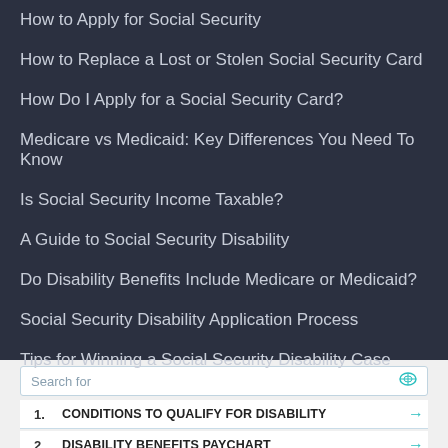How to Apply for Social Security
How to Replace a Lost or Stolen Social Security Card
How Do I Apply for a Social Security Card?
Medicare vs Medicaid: Key Differences You Need To Know
Is Social Security Income Taxable?
A Guide to Social Security Disability
Do Disability Benefits Include Medicare or Medicaid?
Social Security Disability Application Process
Tips for Winning a Social Security Disability Case
Search for
1. CONDITIONS TO QUALIFY FOR DISABILITY →
2. DISABILITY BENEFITS PAYCHART →